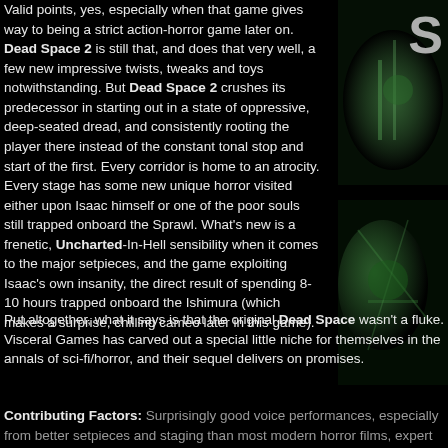Valid points, yes, especially when that game gives way to being a strict action-horror game later on. Dead Space 2 is still that, and does that very well, a few new impressive twists, tweaks and toys notwithstanding. But Dead Space 2 crushes its predecessor in starting out in a state of oppressive, deep-seated dread, and consistently rooting the player there instead of the constant tonal stop and start of the first. Every corridor is home to an atrocity. Every stage has some new unique horror visited either upon Isaac himself or one of the poor souls still trapped onboard the Sprawl. What's new is a frenetic, Uncharted-In-Hell sensibility when it comes to the major setpieces, and the game exploiting Isaac's own insanity, the direct result of spending 8-10 hours trapped onboard the Ishimura (which makes a surprise, chilling cameo later in this game).
[Figure (photo): Top-right image showing sci-fi horror game screenshot with green-tinted dark environment, large letter S visible]
[Figure (photo): Bottom-right image showing sci-fi horror game screenshot with green-tinted dark environment]
Put altogether, what it says is that the original Dead Space wasn't a fluke. Visceral Games has carved out a special little niche for themselves in the annals of sci-fi/horror, and their sequel delivers on promises.
Contributing Factors: Surprisingly good voice performances, especially from better setpieces and staging than most modern horror films, expert pacing and